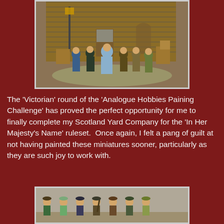[Figure (photo): Painted miniature Victorian-era figures (Scotland Yard Company) posed in front of a brick building diorama with a lamp post. Approximately 6 figures in period costume on a round base.]
The 'Victorian' round of the 'Analogue Hobbies Paining Challenge' has proved the perfect opportunity for me to finally complete my Scotland Yard Company for the 'In Her Majesty's Name' ruleset.  Once again, I felt a pang of guilt at not having painted these miniatures sooner, particularly as they are such joy to work with.
[Figure (photo): Painted miniature figures of the Scotland Yard Company, shown as a lineup of approximately 7 Victorian-era characters in various period costumes and hats.]